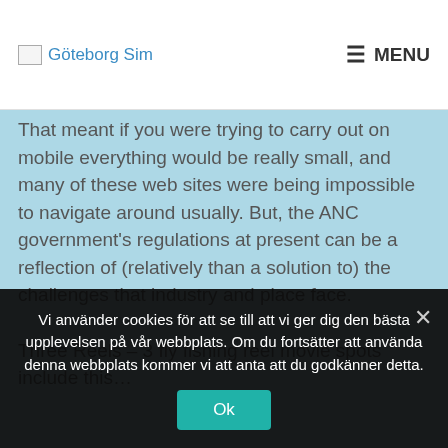Göteborg Sim | MENU
That meant if you were trying to carry out on mobile everything would be really small, and many of these web sites were being impossible to navigate around usually. But, the ANC government's regulations at present can be a reflection of (relatively than a solution to) the challenges that industry and place face.
Three Reels – 3 fly fishing reel movie spots include this…
Vi använder cookies för att se till att vi ger dig den bästa upplevelsen på vår webbplats. Om du fortsätter att använda denna webbplats kommer vi att anta att du godkänner detta.